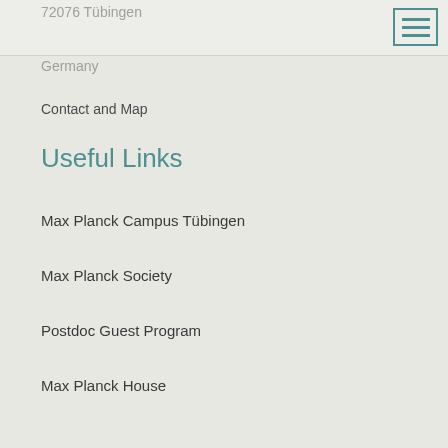72076 Tübingen
[Figure (other): Hamburger menu icon button with three horizontal lines inside a square border, teal/dark green color]
Germany
Contact and Map
Useful Links
Max Planck Campus Tübingen
Max Planck Society
Postdoc Guest Program
Max Planck House